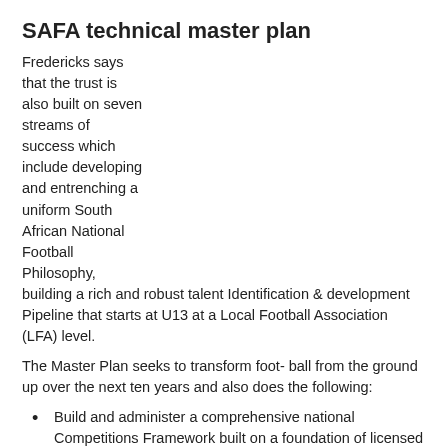SAFA technical master plan
Fredericks says that the trust is also built on seven streams of success which include developing and entrenching a uniform South African National Football Philosophy, building a rich and robust talent Identification & development Pipeline that starts at U13 at a Local Football Association (LFA) level.
The Master Plan seeks to transform foot- ball from the ground up over the next ten years and also does the following:
Build and administer a comprehensive national Competitions Framework built on a foundation of licensed and developed clubs;
Train and deploy efficient and competent 1:30 ratio of